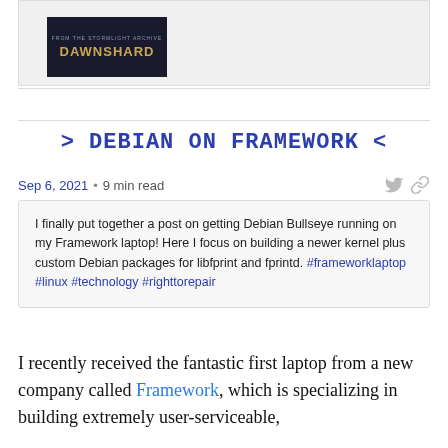[Figure (photo): Book cover image for 'Dawnshard' from the Stormlight Archive, dark background with gold title text]
> DEBIAN ON FRAMEWORK <
Sep 6, 2021 • 9 min read
I finally put together a post on getting Debian Bullseye running on my Framework laptop! Here I focus on building a newer kernel plus custom Debian packages for libfprint and fprintd. #frameworklaptop #linux #technology #righttorepair
I recently received the fantastic first laptop from a new company called Framework, which is specializing in building extremely user-serviceable,